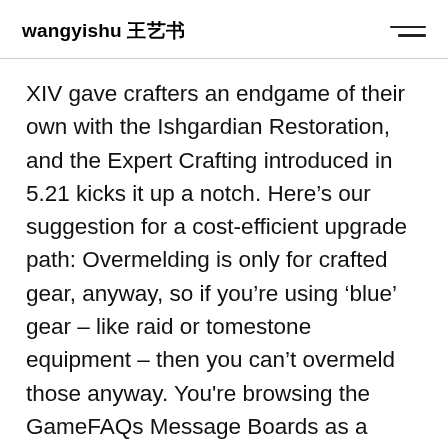wangyishu 王艺书
XIV gave crafters an endgame of their own with the Ishgardian Restoration, and the Expert Crafting introduced in 5.21 kicks it up a notch. Here's our suggestion for a cost-efficient upgrade path: Overmelding is only for crafted gear, anyway, so if you're using 'blue' gear – like raid or tomestone equipment – then you can't overmeld those anyway. You're browsing the GameFAQs Message Boards as a guest. Premy Queen. View Your Character Profile. You are now trained in the ways of materia melding. Community. When you fail, you will lose the carbonized catalyst, the